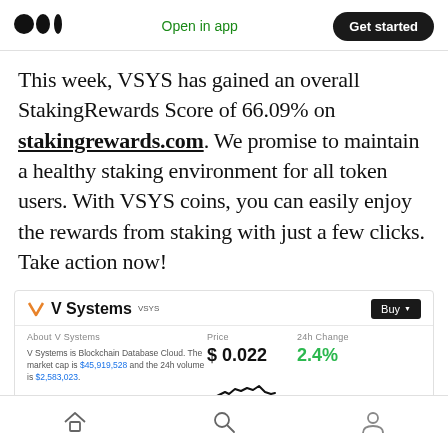Medium logo | Open in app | Get started
This week, VSYS has gained an overall StakingRewards Score of 66.09% on stakingrewards.com. We promise to maintain a healthy staking environment for all token users. With VSYS coins, you can easily enjoy the rewards from staking with just a few clicks. Take action now!
[Figure (screenshot): V Systems (VSYS) cryptocurrency widget showing price $0.022 and 24h change of 2.4% with a small price chart. Includes About V Systems section describing it as Blockchain Database Cloud with market cap $45,919,528 and 24h volume $2,583,023. Buy button in top right.]
Home | Search | Profile navigation icons